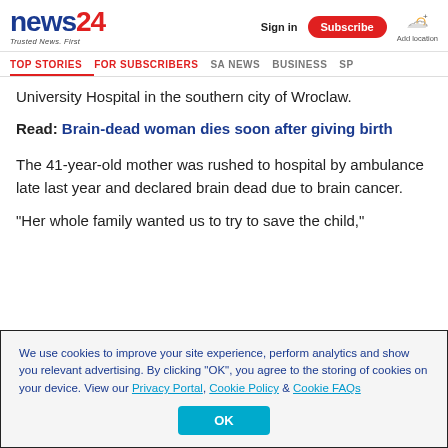news24 Trusted News. First | Sign in | Subscribe | Add location
TOP STORIES | FOR SUBSCRIBERS | SA NEWS | BUSINESS | SP
University Hospital in the southern city of Wroclaw.
Read: Brain-dead woman dies soon after giving birth
The 41-year-old mother was rushed to hospital by ambulance late last year and declared brain dead due to brain cancer.
"Her whole family wanted us to try to save the child,"
We use cookies to improve your site experience, perform analytics and show you relevant advertising. By clicking "OK", you agree to the storing of cookies on your device. View our Privacy Portal, Cookie Policy & Cookie FAQs